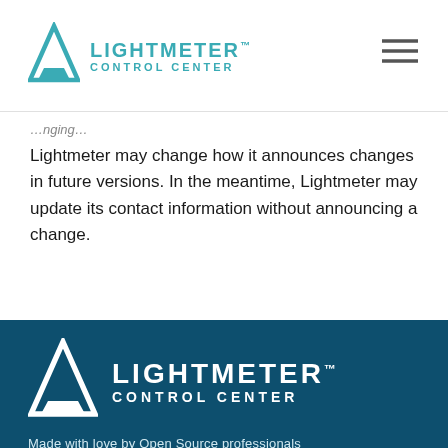LIGHTMETER™ CONTROL CENTER
Lightmeter may change how it announces changes in future versions. In the meantime, Lightmeter may update its contact information without announcing a change.
[Figure (logo): Lightmeter Control Center white logo on dark teal background footer]
Made with love by Open Source professionals
Home | Knowledgebase | Press |